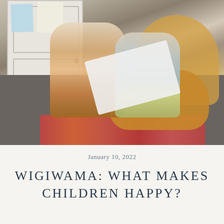[Figure (photo): Two blonde children sitting on a dark floor reading a book together, leaning against a golden/amber bean bag chair. One child sits cross-legged on the floor in orange patterned pants, the other sits in the chair wearing a grey sweatshirt with floral design. A white door with papers pinned to it is visible in the background, along with a colorful rug on the floor.]
January 10, 2022
WIGIWAMA: WHAT MAKES CHILDREN HAPPY?